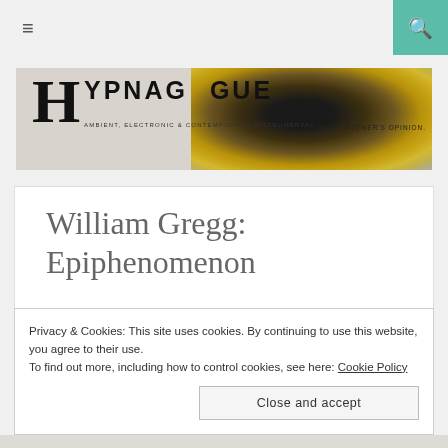≡
[Figure (logo): Hypnagogue blog logo with large H letter, eye/iris photograph background, text HYPNAGOGUE AMBIENT, ELECTRONIC & CONTEMPORARY INSTRUMENTAL and ONE LISTENER'S OPINION.]
William Gregg: Epiphenomenon
Privacy & Cookies: This site uses cookies. By continuing to use this website, you agree to their use.
To find out more, including how to control cookies, see here: Cookie Policy
Close and accept